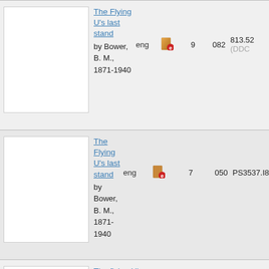| thumbnail | title/author | lang | icon | col1 | col2 | classification |
| --- | --- | --- | --- | --- | --- | --- |
| [image] | The Flying U's last stand
by Bower, B. M., 1871-1940 | eng | [icon] | 9 | 082 | 813.52 (DDC 21) |
| [image] | The Flying U's last stand
by Bower, B. M., 1871-1940 | eng | [icon] | 7 | 050 | PS3537.I8 |
| [image] | The flying U's last stand
by Bower, B. M., 1871- | eng | [icon] | 6 |  |  |